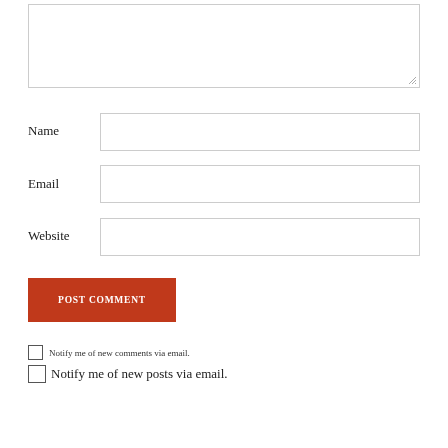[Figure (screenshot): Textarea input box (comment field), empty, with resize handle at bottom-right corner]
Name
[Figure (screenshot): Name text input field, empty]
Email
[Figure (screenshot): Email text input field, empty]
Website
[Figure (screenshot): Website text input field, empty]
[Figure (screenshot): POST COMMENT button in dark red/burnt orange color]
Notify me of new comments via email.
Notify me of new posts via email.